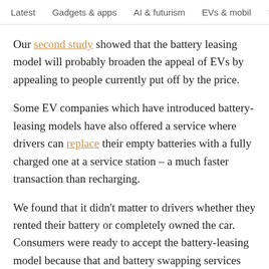Latest   Gadgets & apps   AI & futurism   EVs & mobil  >
Our second study showed that the battery leasing model will probably broaden the appeal of EVs by appealing to people currently put off by the price.
Some EV companies which have introduced battery-leasing models have also offered a service where drivers can replace their empty batteries with a fully charged one at a service station – a much faster transaction than recharging.
We found that it didn't matter to drivers whether they rented their battery or completely owned the car. Consumers were ready to accept the battery-leasing model because that and battery swapping services help remove two barriers to buying EVs